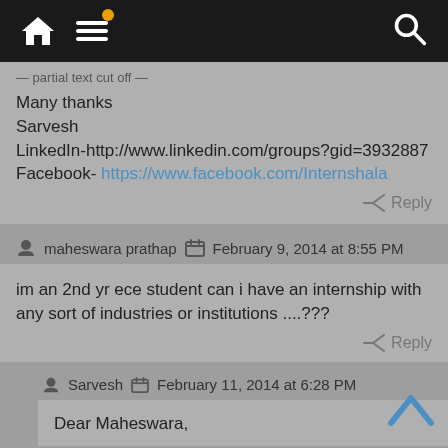Navigation bar with home, menu, and search icons
Many thanks
Sarvesh
LinkedIn-http://www.linkedin.com/groups?gid=3932887
Facebook- https://www.facebook.com/Internshala
Reply
maheswara prathap   February 9, 2014 at 8:55 PM
im an 2nd yr ece student can i have an internship with any sort of industries or institutions ....???
Reply
Sarvesh   February 11, 2014 at 6:28 PM
Dear Maheswara,